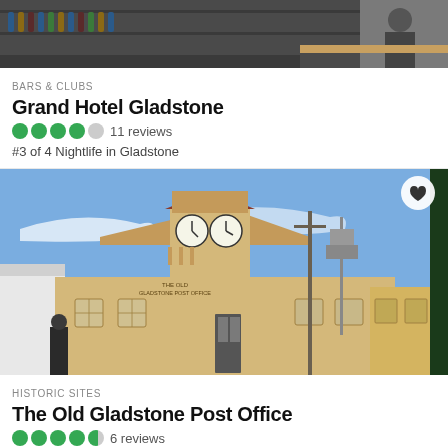[Figure (photo): Top portion of a bar interior photo, partially visible]
BARS & CLUBS
Grand Hotel Gladstone
4 out of 5 bubbles, 11 reviews
#3 of 4 Nightlife in Gladstone
[Figure (photo): Historic building with clock tower - The Old Gladstone Post Office, blue sky background]
HISTORIC SITES
The Old Gladstone Post Office
4.5 out of 5 bubbles, 6 reviews
#11 of 24 things to do in Gladstone